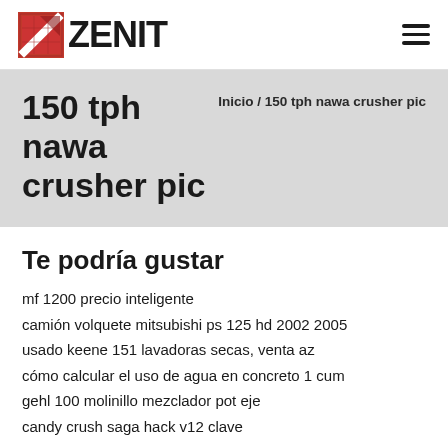ZENIT
150 tph nawa crusher pic
Inicio / 150 tph nawa crusher pic
Te podría gustar
mf 1200 precio inteligente
camión volquete mitsubishi ps 125 hd 2002 2005
usado keene 151 lavadoras secas, venta az
cómo calcular el uso de agua en concreto 1 cum
gehl 100 molinillo mezclador pot eje
candy crush saga hack v12 clave